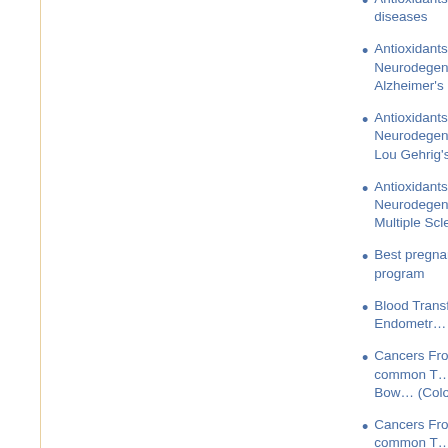Antioxidants and Lung diseases
Antioxidants and Neurodegenrative diseases - Alzheimer's dise…
Antioxidants and Neurodegenrative diseases - Lou Gehrig's disease
Antioxidants and Neurodegenrative diseases -Multiple Sclerosis
Best pregnancy s… help program
Blood Transfusio… During Endometr… Hysterectomy
Cancers From B… - Most common T… of Cancer - - Bow… (Colorectal ) Can…
Cancers From B… - Most common T… of Cancer - Bone…